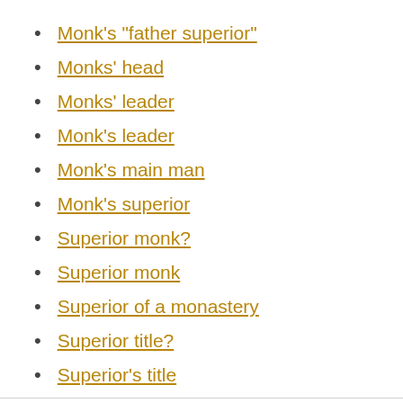Monk's "father superior"
Monks' head
Monks' leader
Monk's leader
Monk's main man
Monk's superior
Superior monk?
Superior monk
Superior of a monastery
Superior title?
Superior's title
Word derived from the Aramaic for “my father”